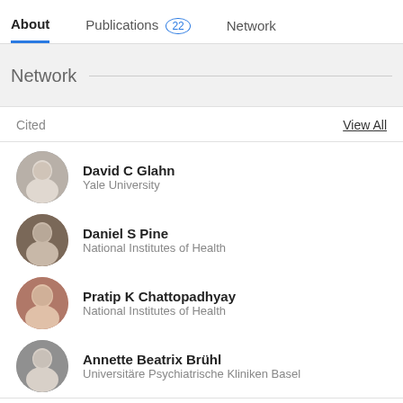About | Publications 22 | Network
Network
Cited	View All
David C Glahn
Yale University
Daniel S Pine
National Institutes of Health
Pratip K Chattopadhyay
National Institutes of Health
Annette Beatrix Brühl
Universitäre Psychiatrische Kliniken Basel